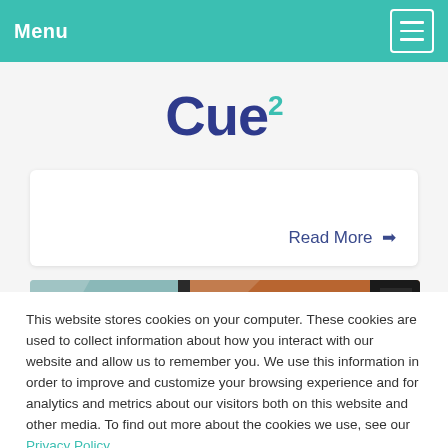Menu
Cue2
Read More →
[Figure (photo): Partial view of a car interior/exterior showing a seat headrest and car window from outside]
This website stores cookies on your computer. These cookies are used to collect information about how you interact with our website and allow us to remember you. We use this information in order to improve and customize your browsing experience and for analytics and metrics about our visitors both on this website and other media. To find out more about the cookies we use, see our Privacy Policy.